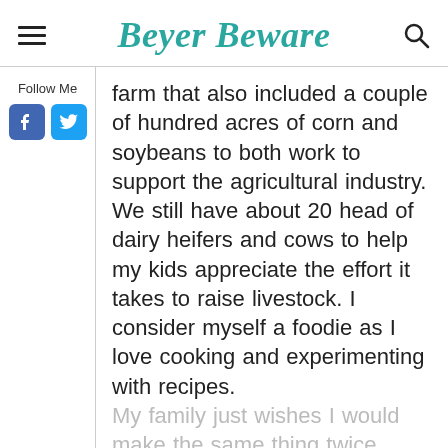Beyer Beware
Follow Me
farm that also included a couple of hundred acres of corn and soybeans to both work to support the agricultural industry. We still have about 20 head of dairy heifers and cows to help my kids appreciate the effort it takes to raise livestock. I consider myself a foodie as I love cooking and experimenting with recipes. My family just wishes I would make the same thing twice